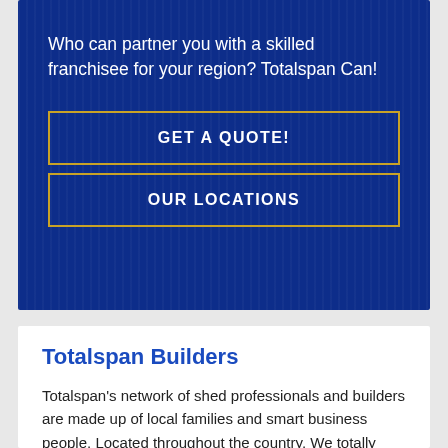Who can partner you with a skilled franchisee for your region? Totalspan Can!
GET A QUOTE!
OUR LOCATIONS
Totalspan Builders
Totalspan's network of shed professionals and builders are made up of local families and smart business people. Located throughout the country. We totally care about all the things you do!
As a group, we've been building sheds for over 30 years. In